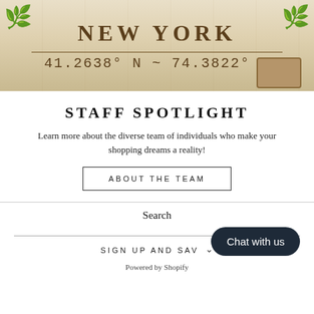[Figure (photo): Wooden sign reading NEW YORK with coordinates 41.2638° N ~ 74.3822° W, decorated with floral engravings. A cutting board is partially visible at the bottom right.]
STAFF SPOTLIGHT
Learn more about the diverse team of individuals who make your shopping dreams a reality!
ABOUT THE TEAM
Search
SIGN UP AND SAVE
Chat with us
Powered by Shopify